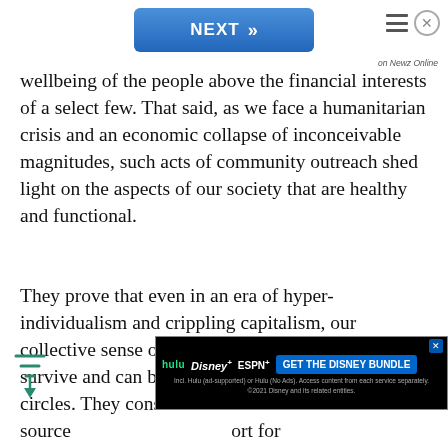[Figure (screenshot): Blue NEXT button with double chevron arrows, navigation bar at top of article page]
wellbeing of the people above the financial interests of a select few. That said, as we face a humanitarian crisis and an economic collapse of inconceivable magnitudes, such acts of community outreach shed light on the aspects of our society that are healthy and functional.
They prove that even in an era of hyper-individualism and crippling capitalism, our collective sense of humanity and compassion survive and can be extended beyond our immediate circles. They constitute a critical source of support for the most vulnerable among us, and are a much-needed ray of hope in the midst of this
[Figure (screenshot): Disney Bundle advertisement banner showing Hulu, Disney+, ESPN+ logos with GET THE DISNEY BUNDLE call to action]